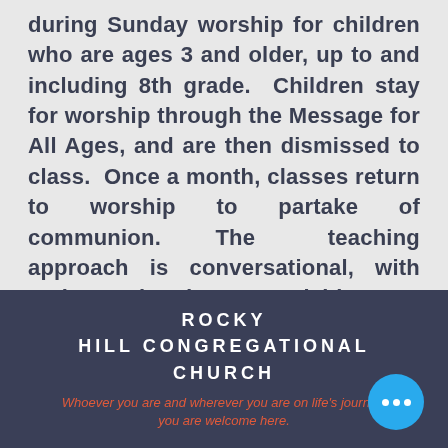during Sunday worship for children who are ages 3 and older, up to and including 8th grade.  Children stay for worship through the Message for All Ages, and are then dismissed to class.  Once a month, classes return to worship to partake of communion.  The teaching approach is conversational, with various hands-on activities to reinforce the lessons.
ROCKY HILL CONGREGATIONAL CHURCH
Whoever you are and wherever you are on life's journey, you are welcome here.